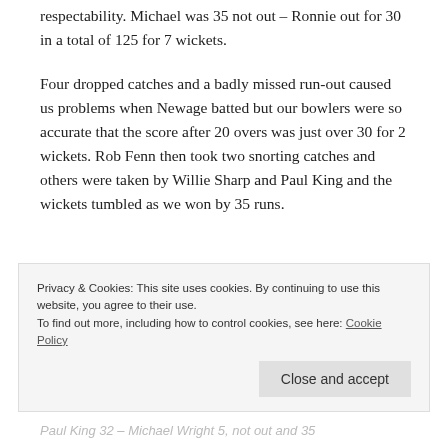respectability. Michael was 35 not out – Ronnie out for 30 in a total of 125 for 7 wickets.
Four dropped catches and a badly missed run-out caused us problems when Newage batted but our bowlers were so accurate that the score after 20 overs was just over 30 for 2 wickets. Rob Fenn then took two snorting catches and others were taken by Willie Sharp and Paul King and the wickets tumbled as we won by 35 runs.
Privacy & Cookies: This site uses cookies. By continuing to use this website, you agree to their use. To find out more, including how to control cookies, see here: Cookie Policy
Paul King 32 – Michael Wright 5, not out and 35